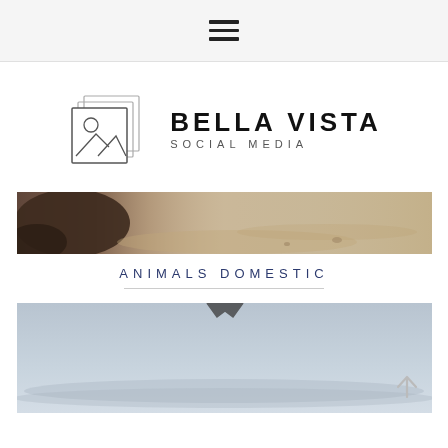Navigation menu (hamburger icon)
[Figure (logo): Bella Vista Social Media logo with stacked photo frame icon containing mountain and sun, beside bold text BELLA VISTA and subtitle SOCIAL MEDIA]
[Figure (photo): Close-up photo of a dark-furred animal (dog paw or snout) against sandy/beige background — animals domestic banner image]
ANIMALS DOMESTIC
[Figure (photo): Outdoor photo with pale blue-grey sky and hazy horizon, partial dark shape at top center — second animals domestic category image]